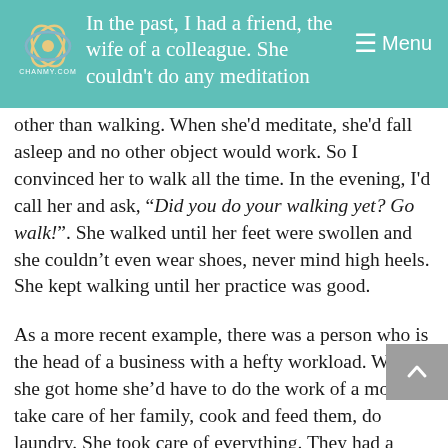In the past, I had a friend, the wife of a colleague. She couldn't do any meditation other than walking. When she'd meditate, she'd fall asleep and no other object would work. So I convinced her to walk all the time. In the evening, I'd call her and ask, "Did you do your walking yet? Go walk!". She walked until her feet were swollen and she couldn't even wear shoes, never mind high heels. She kept walking until her practice was good.

As a more recent example, there was a person who is the head of a business with a hefty workload. When she got home she'd have to do the work of a mom, take care of her family, cook and feed them, do laundry. She took care of everything. They had a maid but she was very thorough so she was involved in all of it. She wasn't free until 11pm, when everybody
other than walking. When she'd meditate, she'd fall asleep and no other object would work. So I convinced her to walk all the time. In the evening, I'd call her and ask, “Did you do your walking yet? Go walk!”. She walked until her feet were swollen and she couldn't even wear shoes, never mind high heels. She kept walking until her practice was good.
As a more recent example, there was a person who is the head of a business with a hefty workload. When she got home she'd have to do the work of a mom, take care of her family, cook and feed them, do laundry. She took care of everything. They had a maid but she was very thorough so she was involved in all of it. She wasn’t free until 11pm, when everybody